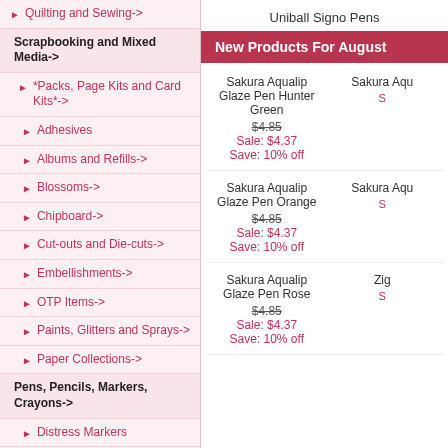Quilting and Sewing->
Scrapbooking and Mixed Media->
*Packs, Page Kits and Card Kits*->
Adhesives
Albums and Refills->
Blossoms->
Chipboard->
Cut-outs and Die-cuts->
Embellishments->
OTP Items->
Paints, Glitters and Sprays->
Paper Collections->
Pens, Pencils, Markers, Crayons->
Distress Markers
Miscellaneous Pens and Markers
Sakura Aqualip Glaze Pens
Uniball Signo Pens
Uniball Signo Pens
New Products For August
Sakura Aqualip Glaze Pen Hunter Green
$4.85
Sale: $4.37
Save: 10% off
Sakura Aqualip Glaze Pen Orange
$4.85
Sale: $4.37
Save: 10% off
Sakura Aqualip Glaze Pen Rose
$4.85
Sale: $4.37
Save: 10% off
Sakura Aqu...
Sakura Aqu...
Zig...